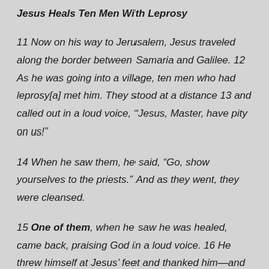Jesus Heals Ten Men With Leprosy
11 Now on his way to Jerusalem, Jesus traveled along the border between Samaria and Galilee. 12 As he was going into a village, ten men who had leprosy[a] met him. They stood at a distance 13 and called out in a loud voice, “Jesus, Master, have pity on us!”
14 When he saw them, he said, “Go, show yourselves to the priests.” And as they went, they were cleansed.
15 One of them, when he saw he was healed, came back, praising God in a loud voice. 16 He threw himself at Jesus’ feet and thanked him—and he was a